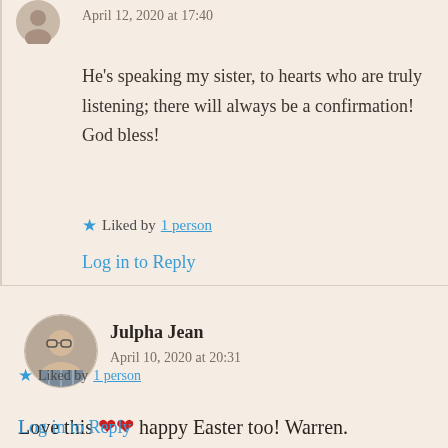April 12, 2020 at 17:40
He's speaking my sister, to hearts who are truly listening; there will always be a confirmation! God bless!
Liked by 1 person
Log in to Reply
Julpha Jean
April 10, 2020 at 20:31
Love this ❤❤ happy Easter too! Warren.
Liked by 1 person
Log in to Reply